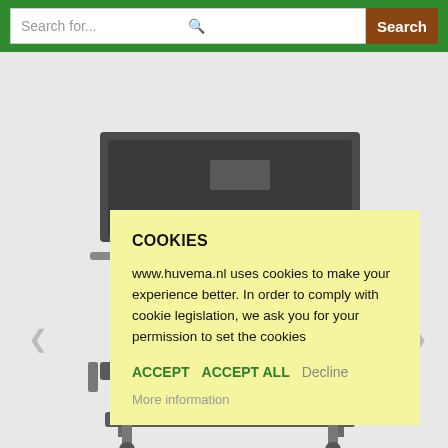Search for... Search
[Figure (photo): Background photo of a gray metal workshop trolley/cart with shelves, photographed from the front-side angle against a white background.]
COOKIES
www.huvema.nl uses cookies to make your experience better. In order to comply with cookie legislation, we ask you for your permission to set the cookies
ACCEPT   ACCEPT ALL   Decline
More information